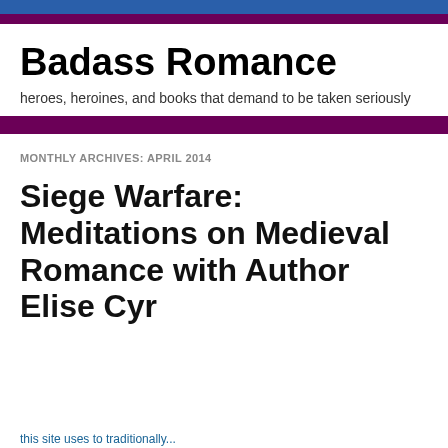Badass Romance
heroes, heroines, and books that demand to be taken seriously
MONTHLY ARCHIVES: APRIL 2014
Siege Warfare: Meditations on Medieval Romance with Author Elise Cyr
Privacy & Cookies: This site uses cookies. By continuing to use this website, you agree to their use.
To find out more, including how to control cookies, see here: Cookie Policy
Close and accept
this site uses to traditionally...